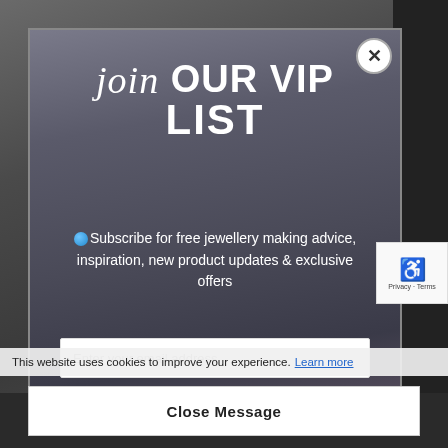[Figure (screenshot): VIP list subscription modal popup overlay on a jewellery-making website. Background shows jewelry pieces and gems on a dark surface. Modal contains heading 'join OUR VIP LIST', subscribe text, email input field, sign up button, and close message button. Cookie consent bar at bottom.]
join OUR VIP LIST
Subscribe for free jewellery making advice, inspiration, new product updates & exclusive offers
Enter your email address
Sign up
This website uses cookies to improve your experience. Learn more
Close Message